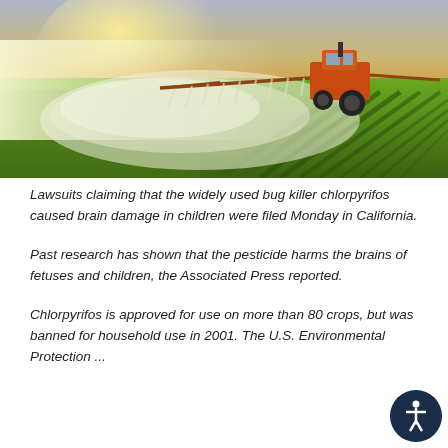[Figure (photo): Agricultural sprayer tractor spraying pesticide over green crop rows in a large field, backlit by golden sunlight with mist visible]
Lawsuits claiming that the widely used bug killer chlorpyrifos caused brain damage in children were filed Monday in California.
Past research has shown that the pesticide harms the brains of fetuses and children, the Associated Press reported.
Chlorpyrifos is approved for use on more than 80 crops, but was banned for household use in 2001. The U.S. Environmental Protection ...